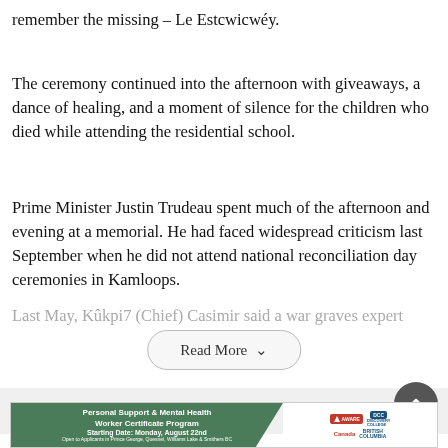remember the missing – Le Estcwicwéy.
The ceremony continued into the afternoon with giveaways, a dance of healing, and a moment of silence for the children who died while attending the residential school.
Prime Minister Justin Trudeau spent much of the afternoon and evening at a memorial. He had faced widespread criticism last September when he did not attend national reconciliation day ceremonies in Kamloops.
Last May, Kûkpi7 (Chief) Casimir said a war graves expert
Read More
[Figure (other): Advertisement banner for Personal Support & Mental Health Worker Certificate Program. Starting Date: Monday, August 22nd. Open to Applicants in Prince George, Quesnel, Williams Lake & Smithers BC. Logos: AWARE, DCC Discovery College, Canada, British Columbia.]